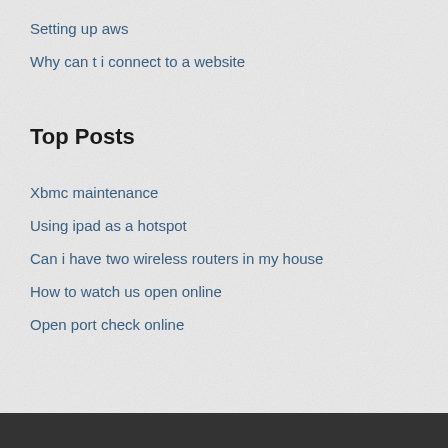Setting up aws
Why can t i connect to a website
Top Posts
Xbmc maintenance
Using ipad as a hotspot
Can i have two wireless routers in my house
How to watch us open online
Open port check online